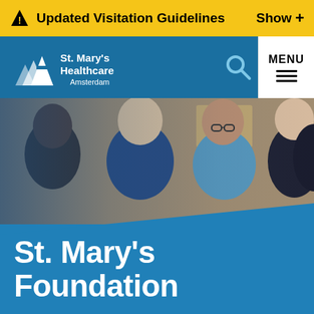Updated Visitation Guidelines   Show +
[Figure (logo): St. Mary's Healthcare Amsterdam logo with mountain/cross icon in white on blue background]
[Figure (photo): Group of four smiling healthcare workers and a patient, some in blue scrubs, posing together in a hospital room]
St. Mary's Foundation